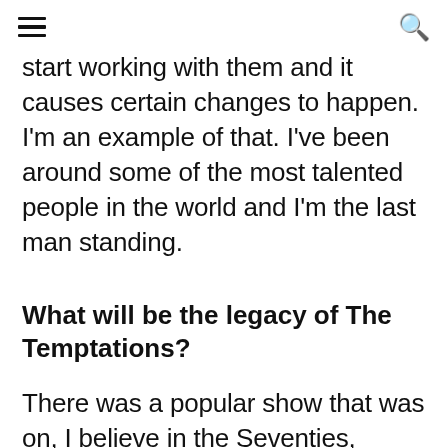start working with them and it causes certain changes to happen. I'm an example of that. I've been around some of the most talented people in the world and I'm the last man standing.
What will be the legacy of The Temptations?
There was a popular show that was on, I believe in the Seventies, called That's Entertainment! I enjoyed that show because it showcased all the many different